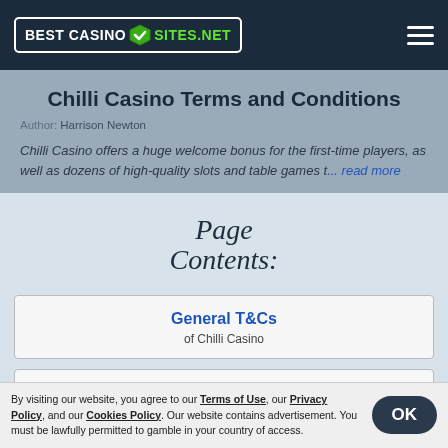BEST CASINO SITES.NET
Chilli Casino Terms and Conditions
Author: Harrison Newton
Chilli Casino offers a huge welcome bonus for the first-time players, as well as dozens of high-quality slots and table games t... read more
[Figure (illustration): Page Contents cursive/script text label]
General T&Cs of Chilli Casino
Welcome Bonus Terms
By visiting our website, you agree to our Terms of Use, our Privacy Policy, and our Cookies Policy. Our website contains advertisement. You must be lawfully permitted to gamble in your country of access.